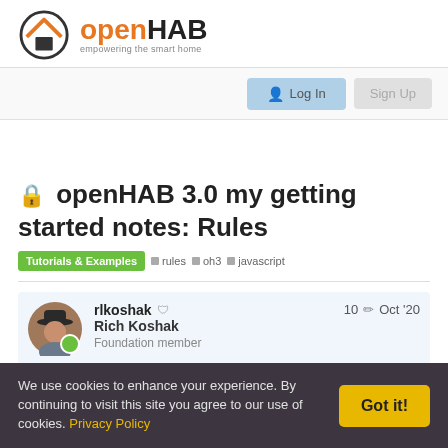[Figure (logo): openHAB logo with house icon and tagline 'empowering the smart home']
🔒 openHAB 3.0 my getting started notes: Rules
Tutorials & Examples  rules  oh3  javascript
rlkoshak 🛡 Rich Koshak Foundation member  10 ✏ Oct '20
We use cookies to enhance your experience. By continuing to visit this site you agree to our use of cookies. Privacy Policy